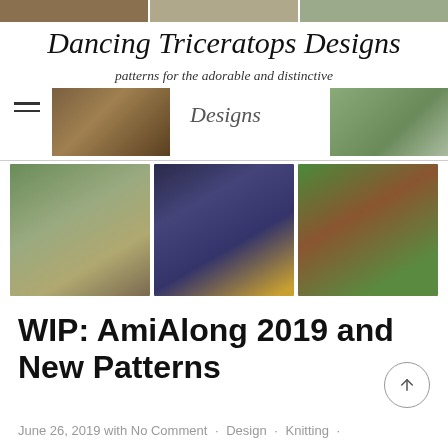[Figure (photo): Top strip of three partial photo thumbnails]
Dancing Triceratops Designs
patterns for the adorable and distinctive
[Figure (photo): Navigation area with hamburger menu icon, two photo thumbnails left and right, and 'Designs' text overlay in center]
[Figure (photo): Gallery row of three photos: a knitted dinosaur/dragon on a tree, a dark purple bear on a yellow book, and a brown weasel/ferret in green foliage]
WIP: AmiAlong 2019 and New Patterns
June 26, 2019 with No Comment · Design · Knitting ·